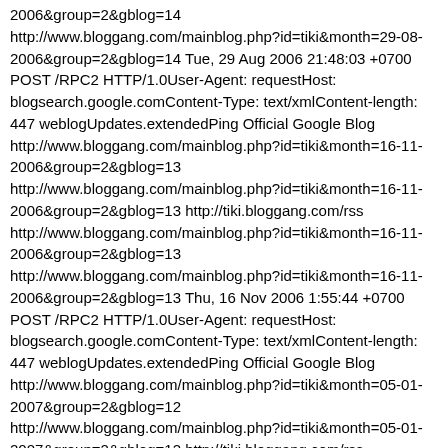2006&group=2&gblog=14 http://www.bloggang.com/mainblog.php?id=tiki&month=29-08-2006&group=2&gblog=14 Tue, 29 Aug 2006 21:48:03 +0700 POST /RPC2 HTTP/1.0User-Agent: requestHost: blogsearch.google.comContent-Type: text/xmlContent-length: 447 weblogUpdates.extendedPing Official Google Blog http://www.bloggang.com/mainblog.php?id=tiki&month=16-11-2006&group=2&gblog=13 http://www.bloggang.com/mainblog.php?id=tiki&month=16-11-2006&group=2&gblog=13 http://tiki.bloggang.com/rss http://www.bloggang.com/mainblog.php?id=tiki&month=16-11-2006&group=2&gblog=13 http://www.bloggang.com/mainblog.php?id=tiki&month=16-11-2006&group=2&gblog=13 Thu, 16 Nov 2006 1:55:44 +0700 POST /RPC2 HTTP/1.0User-Agent: requestHost: blogsearch.google.comContent-Type: text/xmlContent-length: 447 weblogUpdates.extendedPing Official Google Blog http://www.bloggang.com/mainblog.php?id=tiki&month=05-01-2007&group=2&gblog=12 http://www.bloggang.com/mainblog.php?id=tiki&month=05-01-2007&group=2&gblog=12 http://tiki.bloggang.com/rss http://www.bloggang.com/mainblog.php?id=tiki&month=05-01-2007&group=2&gblog=12 http://www.bloggang.com/mainblog.php?id=tiki&month=05-01-2007&group=2&gblog=12 Fri, 05 Jan 2007 1:45:39 +0700 POST /RPC2 HTTP/1.0User-Agent: requestHost: